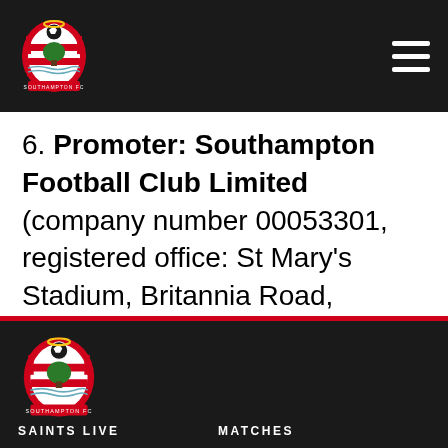Southampton FC website header with club crest and navigation menu
6. Promoter: Southampton Football Club Limited (company number 00053301, registered office: St Mary's Stadium, Britannia Road, Southampton, Hampshire SO14 5FP).
Southampton FC footer with club crest, SAINTS LIVE, MATCHES